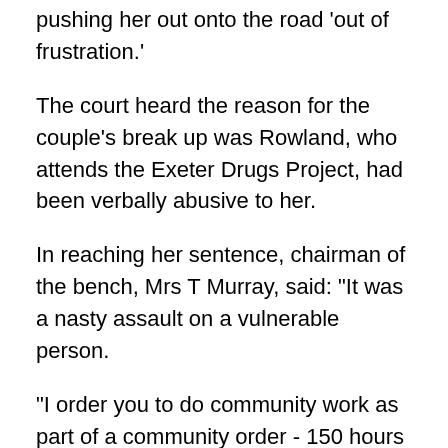pushing her out onto the road 'out of frustration.'
The court heard the reason for the couple's break up was Rowland, who attends the Exeter Drugs Project, had been verbally abusive to her.
In reaching her sentence, chairman of the bench, Mrs T Murray, said: "It was a nasty assault on a vulnerable person.
"I order you to do community work as part of a community order - 150 hours unpaid work.